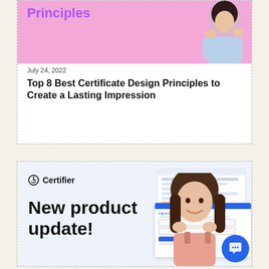[Figure (illustration): Top article card with pink banner showing partial purple title text 'Principles' and a woman posing with hands on face]
July 24, 2022
Top 8 Best Certificate Design Principles to Create a Lasting Impression
[Figure (illustration): Bottom card showing Certifier logo, 'New product update!' text, woman smiling with hands on face, UI screenshots of Certifier dashboard, and blue chat bubble]
Certifier
New product update!